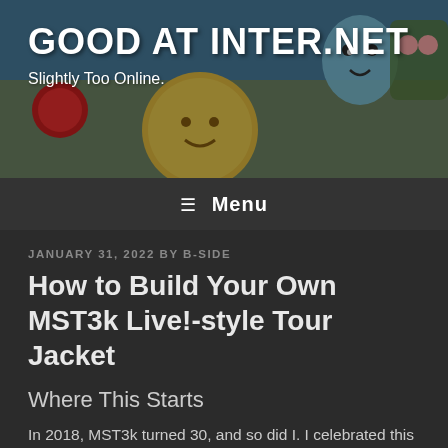GOOD AT INTER.NET
Slightly Too Online.
[Figure (illustration): Colorful cartoon mural/graffiti art visible in the page header background, featuring cartoon characters including what appears to be a sun, ghost-like figures, and other colorful illustrated characters on a building wall.]
≡ Menu
JANUARY 31, 2022 BY B-SIDE
How to Build Your Own MST3k Live!-style Tour Jacket
Where This Starts
In 2018, MST3k turned 30, and so did I. I celebrated this by getting VIP tickets to the Anniversary tour's Boston stop. This is where I first saw the fantastic tour jackets Jonah, Joel, and the various other performers have: